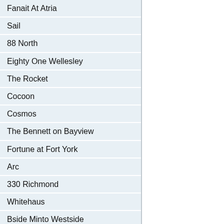| Fanait At Atria |
| Sail |
| 88 North |
| Eighty One Wellesley |
| The Rocket |
| Cocoon |
| Cosmos |
| The Bennett on Bayview |
| Fortune at Fort York |
| Arc |
| 330 Richmond |
| Whitehaus |
| Bside Minto Westside |
| The Lanes |
| The Met |